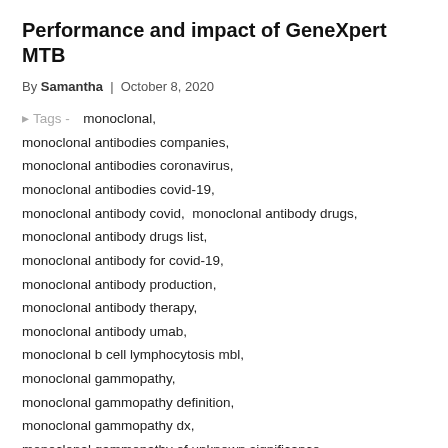Performance and impact of GeneXpert MTB
By Samantha | October 8, 2020
Tags - monoclonal,
monoclonal antibodies companies,
monoclonal antibodies coronavirus,
monoclonal antibodies covid-19,
monoclonal antibody covid, monoclonal antibody drugs,
monoclonal antibody drugs list,
monoclonal antibody for covid-19,
monoclonal antibody production,
monoclonal antibody therapy,
monoclonal antibody umab,
monoclonal b cell lymphocytosis mbl,
monoclonal gammopathy,
monoclonal gammopathy definition,
monoclonal gammopathy dx,
monoclonal gammopathy of unknown significance,
monoclonal immunoglobulin, monoclonal par,